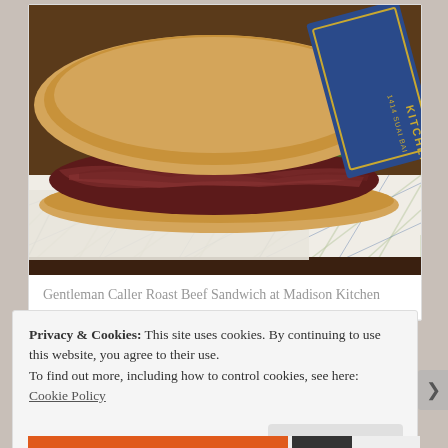[Figure (photo): Close-up photo of a roast beef sandwich on a bun with greens and tomato, alongside a white checkered paper wrapper with 'Madison Kitchen' logo printed in blue and gold, on a dark wooden surface.]
Gentleman Caller Roast Beef Sandwich at Madison Kitchen
Privacy & Cookies: This site uses cookies. By continuing to use this website, you agree to their use.
To find out more, including how to control cookies, see here: Cookie Policy